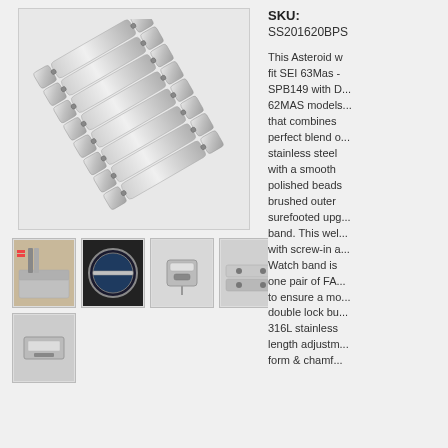[Figure (photo): Main product image of a stainless steel watch band bracelet showing the mesh/jubilee style links]
[Figure (photo): Thumbnail 1: Watch band installed on a watch next to tools]
[Figure (photo): Thumbnail 2: Watch with the band on a dark background]
[Figure (photo): Thumbnail 3: Close-up of the clasp/buckle mechanism]
[Figure (photo): Thumbnail 4: Close-up of the bracelet links]
[Figure (photo): Thumbnail 5: Close-up of the clasp hook]
[Figure (photo): Thumbnail 6 (bottom row): Another angle of the clasp]
SKU:
SS201620BPS
This Asteroid w... fit SEI 63Mas - SPB149 with D... 62MAS models... that combines... perfect blend o... stainless steel... with a smooth... polished beads... brushed outer... surefooted upg... band. This wel... with screw-in a... Watch band is... one pair of FA... to ensure a mo... double lock bu... 316L stainless... length adjustm... form & chamf...